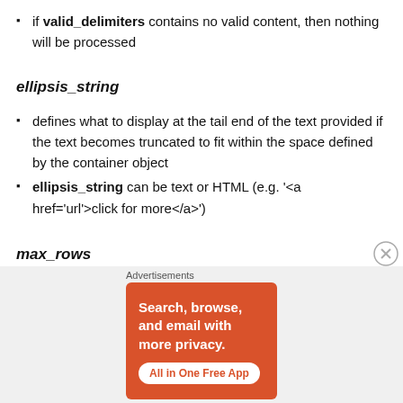if valid_delimiters contains no valid content, then nothing will be processed
ellipsis_string
defines what to display at the tail end of the text provided if the text becomes truncated to fit within the space defined by the container object
ellipsis_string can be text or HTML (e.g. '<a href='url'>click for more</a>')
max_rows
[Figure (infographic): DuckDuckGo advertisement banner showing 'Search, browse, and email with more privacy. All in One Free App' on orange background with phone image and DuckDuckGo logo]